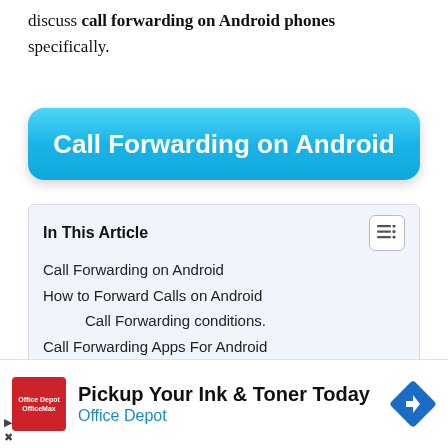discuss call forwarding on Android phones specifically.
[Figure (other): Blue rounded button labeled 'Call Forwarding on Android']
In This Article
Call Forwarding on Android
How to Forward Calls on Android
Call Forwarding conditions.
Call Forwarding Apps For Android
[Figure (other): Advertisement: Pickup Your Ink & Toner Today — Office Depot]